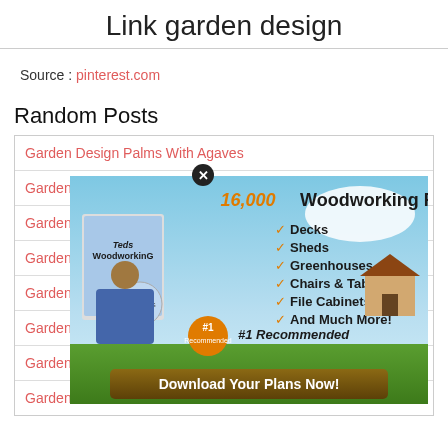Link garden design
Source : pinterest.com
Random Posts
Garden Design Palms With Agaves
Garden
Garden
Garden
Garden
Garden
Garden
[Figure (illustration): Advertisement for 16,000 Woodworking Projects featuring Teds WoodWorking product box, checkmarks listing Decks, Sheds, Greenhouses, Chairs & Tables, File Cabinets, And Much More!, with #1 Recommended badge and Download Your Plans Now button. Has a close (X) button overlay.]